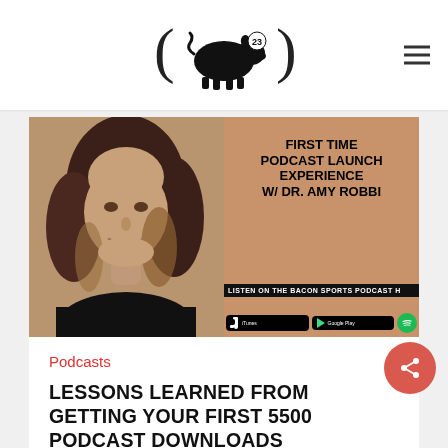Bacon Sports logo with pig icon and number 23
[Figure (photo): Podcast cover image: left half shows a woman with brown wavy hair smiling, right half shows orange background with text 'FIRST TIME PODCAST LAUNCH EXPERIENCE W/ DR. AMY ROBBI' and 'LISTEN ON THE BACON SPORTS PODCAST H' with iTunes, Google Play, and Spotify badges]
Podcasts
LESSONS LEARNED FROM GETTING YOUR FIRST 5500 PODCAST DOWNLOADS